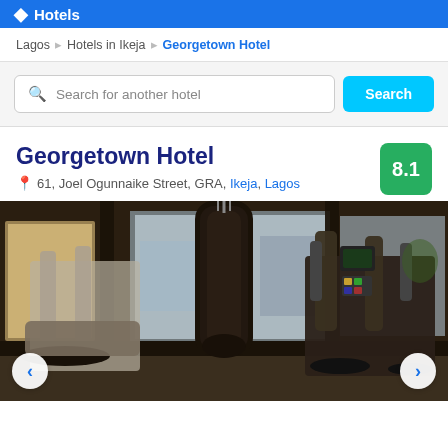Hotels Nigeria (logo/header bar)
Lagos > Hotels in Ikeja > Georgetown Hotel
Search for another hotel [Search button]
Georgetown Hotel
61, Joel Ogunnaike Street, GRA, Ikeja, Lagos
8.1
[Figure (photo): Hotel gym/fitness room with exercise equipment including a punching bag, elliptical machine, and other gym equipment. Large windows in the background overlook an urban area. Navigation arrows visible on the left and right sides.]